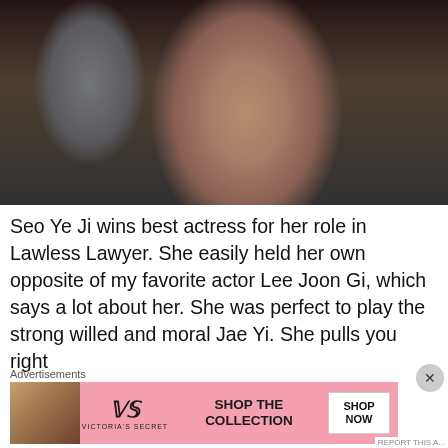[Figure (photo): A smiling young East Asian woman with long dark hair, wearing a dark blazer over a white top. She appears to be in an indoor setting. A blurred male figure in a suit is visible behind her to the left.]
Seo Ye Ji wins best actress for her role in Lawless Lawyer. She easily held her own opposite of my favorite actor Lee Joon Gi, which says a lot about her. She was perfect to play the strong willed and moral Jae Yi. She pulls you right
Advertisements
[Figure (photo): Victoria's Secret advertisement banner. Shows a model on the left, the Victoria's Secret logo in the center, text 'SHOP THE COLLECTION' and a white 'SHOP NOW' button on the right. Pink background.]